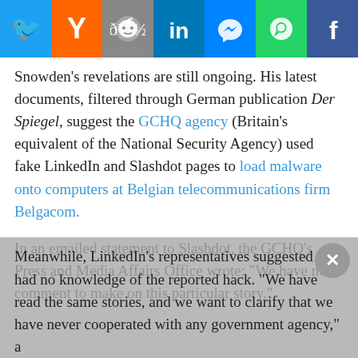[Figure (screenshot): Social media share buttons bar with icons for Twitter (blue), Hacker News Y (orange), Reddit (grey), LinkedIn (dark blue), Messenger (blue), WhatsApp (green), Facebook (dark blue)]
Snowden’s revelations are still ongoing. His latest documents, filtered through German publication Der Spiegel, suggest the GCHQ agency (Britain’s equivalent of the National Security Agency) used fake LinkedIn and Slashdot pages to load malware onto computers at Belgian telecommunications firm Belgacom.
In an emailed statement to Slashdot, the GCHQ’s Press and Media Affairs Office wrote: “We have no comment to make on this particular story.”
Meanwhile, LinkedIn’s representatives suggested they had no knowledge of the reported hack. “We have read the same stories, and we want to clarify that we have never cooperated with any government agency,” a